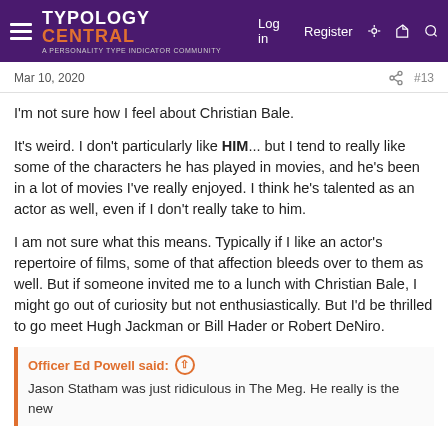TYPOLOGY CENTRAL — A Personality Type Indicator Community | Log in | Register
Mar 10, 2020    #13
I'm not sure how I feel about Christian Bale.
It's weird. I don't particularly like HIM... but I tend to really like some of the characters he has played in movies, and he's been in a lot of movies I've really enjoyed. I think he's talented as an actor as well, even if I don't really take to him.
I am not sure what this means. Typically if I like an actor's repertoire of films, some of that affection bleeds over to them as well. But if someone invited me to a lunch with Christian Bale, I might go out of curiosity but not enthusiastically. But I'd be thrilled to go meet Hugh Jackman or Bill Hader or Robert DeNiro.
Officer Ed Powell said: ↑
Jason Statham was just ridiculous in The Meg. He really is the new